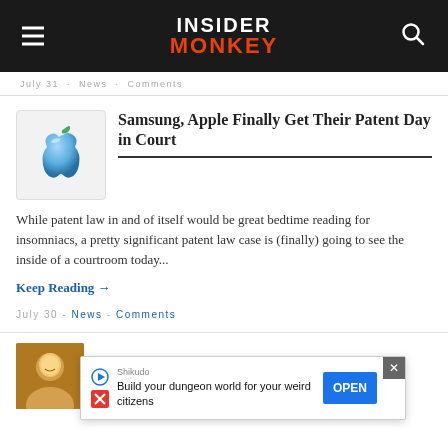INSIDER MONKEY
July 31 · News · Comments
Samsung, Apple Finally Get Their Patent Day in Court
While patent law in and of itself would be great bedtime reading for insomniacs, a pretty significant patent law case is (finally) going to see the inside of a courtroom today...
Keep Reading →
July 30 - News - Comments
[Figure (photo): Partial view of a smiling person's face, part of a lower article card]
Apple, Google
Shikudo
Build your dungeon world for your weird citizens
OPEN